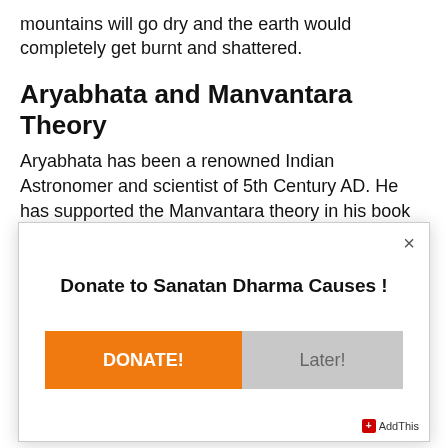mountains will go dry and the earth would completely get burnt and shattered.
Aryabhata and Manvantara Theory
Aryabhata has been a renowned Indian Astronomer and scientist of 5th Century AD. He has supported the Manvantara theory in his book 'Aryabhatiya' and has given the duration of a revolution of Sun, planets,
[Figure (screenshot): Modal dialog box with title 'Donate to Sanatan Dharma Causes !', an orange DONATE! button on the left and a gray Later! button on the right, a close (×) button in the top right corner, and an AddThis badge in the bottom right.]